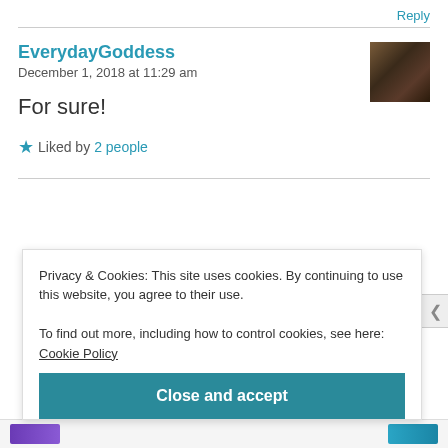Reply
EverydayGoddess
December 1, 2018 at 11:29 am
For sure!
★ Liked by 2 people
Privacy & Cookies: This site uses cookies. By continuing to use this website, you agree to their use.
To find out more, including how to control cookies, see here: Cookie Policy
Close and accept